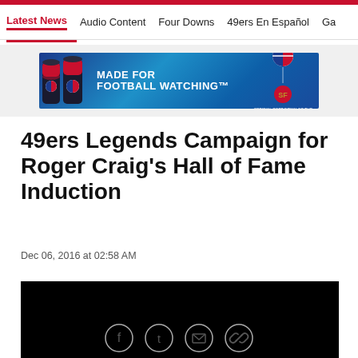Latest News  Audio Content  Four Downs  49ers En Español  Ga
[Figure (photo): Pepsi advertisement banner: two Pepsi cans on blue background with text 'MADE FOR FOOTBALL WATCHING' and Pepsi/49ers logos on right side]
49ers Legends Campaign for Roger Craig's Hall of Fame Induction
Dec 06, 2016 at 02:58 AM
[Figure (photo): Black video player box]
[Figure (infographic): Social sharing icons: Facebook, Twitter, Email, Link]